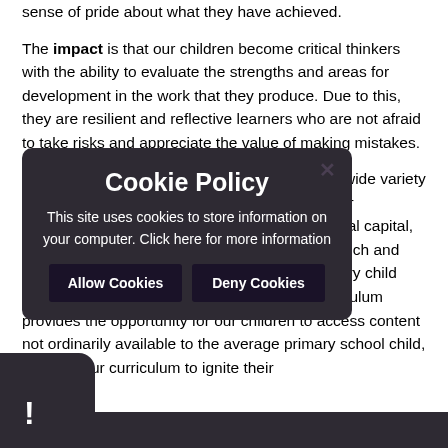sense of pride about what they have achieved.
The impact is that our children become critical thinkers with the ability to evaluate the strengths and areas for development in the work that they produce. Due to this, they are resilient and reflective learners who are not afraid to take risks and appreciate the value of making mistakes.
By offering pupils the opportunity to discover a wide variety of academic, creative and technical skillsets, our curriculum broadens their knowledge and cultural capital, empowering every pupil to succeed in life. Our rich and varied enrichment programme ensures that every child experiences a range of opportunities. Our curriculum provides the opportunity for our children to access content not ordinarily available to the average primary school child, allowing our curriculum to ignite their
[Figure (screenshot): Cookie Policy modal overlay with dark rounded background. Title: 'Cookie Policy'. Body text: 'This site uses cookies to store information on your computer. Click here for more information'. Two buttons: 'Allow Cookies' and 'Deny Cookies'. An X close button at top right. A dark rounded bottom-left shape with an exclamation mark.]